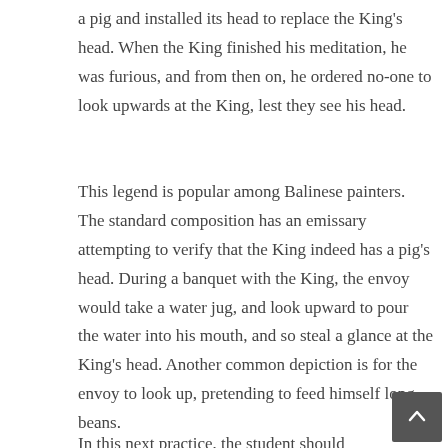a pig and installed its head to replace the King's head. When the King finished his meditation, he was furious, and from then on, he ordered no-one to look upwards at the King, lest they see his head.
This legend is popular among Balinese painters. The standard composition has an emissary attempting to verify that the King indeed has a pig's head. During a banquet with the King, the envoy would take a water jug, and look upward to pour the water into his mouth, and so steal a glance at the King's head. Another common depiction is for the envoy to look up, pretending to feed himself long beans.
In this next...